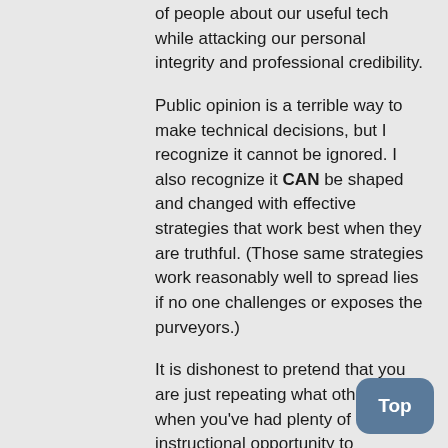of people about our useful tech while attacking our personal integrity and professional credibility.
Public opinion is a terrible way to make technical decisions, but I recognize it cannot be ignored. I also recognize it CAN be shaped and changed with effective strategies that work best when they are truthful. (Those same strategies work reasonably well to spread lies if no one challenges or exposes the purveyors.)
It is dishonest to pretend that you are just repeating what others say when you've had plenty of time and instructional opportunity to